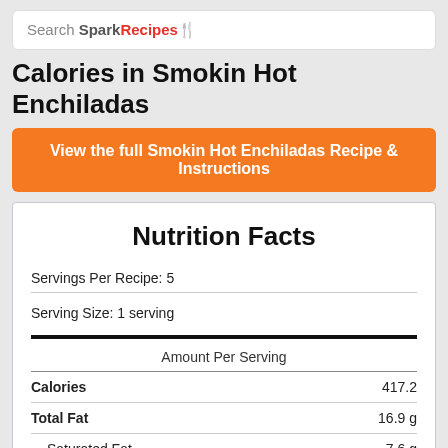Search SparkRecipes
Calories in Smokin Hot Enchiladas
View the full Smokin Hot Enchiladas Recipe & Instructions
| Nutrient | Amount |
| --- | --- |
| Servings Per Recipe | 5 |
| Serving Size | 1 serving |
| Calories | 417.2 |
| Total Fat | 16.9 g |
| Saturated Fat | 7.6 g |